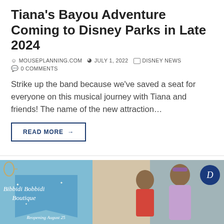Tiana's Bayou Adventure Coming to Disney Parks in Late 2024
MOUSEPLANNING.COM   JULY 1, 2022   DISNEY NEWS   0 COMMENTS
Strike up the band because we've saved a seat for everyone on this musical journey with Tiana and friends! The name of the new attraction…
READ MORE →
[Figure (photo): Promotional image for Bibbidi Bobbidi Boutique reopening August 25, showing a child and a costumed attendant styled as Jasmine from Aladdin, in a Disney boutique setting with blue banner.]